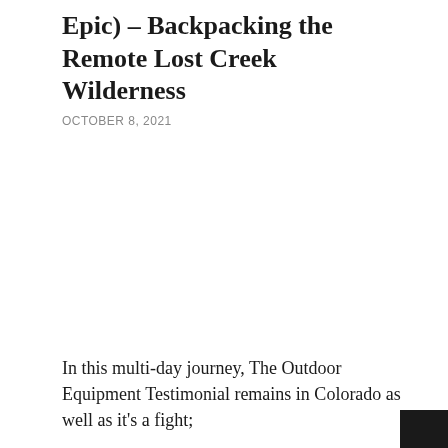Epic) – Backpacking the Remote Lost Creek Wilderness
OCTOBER 8, 2021
In this multi-day journey, The Outdoor Equipment Testimonial remains in Colorado as well as it's a fight;